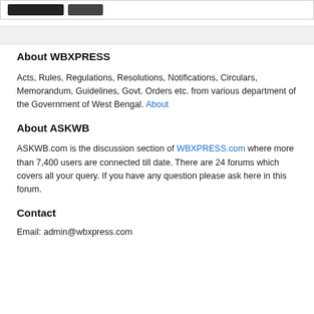[Figure (screenshot): Top bar with two dark buttons]
About WBXPRESS
Acts, Rules, Regulations, Resolutions, Notifications, Circulars, Memorandum, Guidelines, Govt. Orders etc. from various department of the Government of West Bengal. About
About ASKWB
ASKWB.com is the discussion section of WBXPRESS.com where more than 7,400 users are connected till date. There are 24 forums which covers all your query. If you have any question please ask here in this forum.
Contact
Email: admin@wbxpress.com